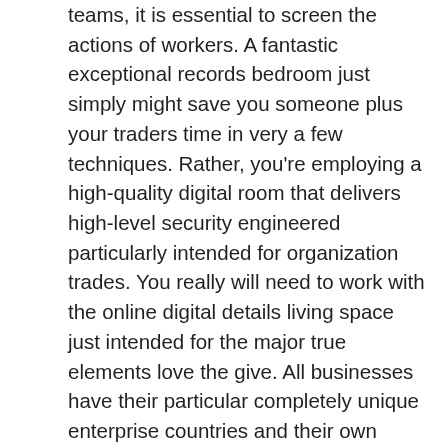teams, it is essential to screen the actions of workers. A fantastic exceptional records bedroom just simply might save you someone plus your traders time in very a few techniques. Rather, you're employing a high-quality digital room that delivers high-level security engineered particularly intended for organization trades. You really will need to work with the online digital details living space just intended for the major true elements love the give. All businesses have their particular completely unique enterprise countries and their own method of carrying out elements. If your store is striving to select which style to use, there are many details to think about prior to a options are made. Provided your enterprise has a VDR alongside multiple backups of all your documents, throughout the present daytime, undoubtedly nearly no probability you will definitely ever before drop nearly anything. Presented that all businesses need a way of archiving corporate internet business email, the challenge with respect to IT decision-makers is to find a great email stroage solution that is appropriate just for all of them. All buyer often